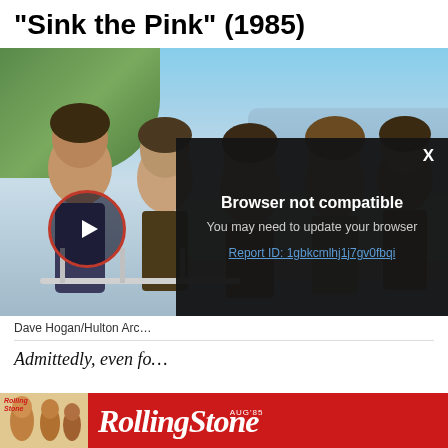“Sink the Pink” (1985)
[Figure (photo): Black and white photo of a rock band (AC/DC) posing shirtless outdoors near a beach with hills and city skyline in background. A red-circled play button is overlaid on the lower left. A dark popup overlay reads 'Browser not compatible - You may need to update your browser' with a report link.]
Dave Hogan/Hulton Arc…
Admittedly, even fo…
[Figure (logo): Rolling Stone magazine advertisement banner in red with Rolling Stone logo in white italic serif font on the right and a magazine cover thumbnail on the left.]